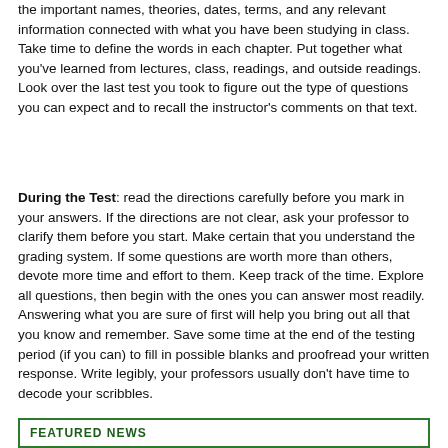the important names, theories, dates, terms, and any relevant information connected with what you have been studying in class. Take time to define the words in each chapter. Put together what you've learned from lectures, class, readings, and outside readings. Look over the last test you took to figure out the type of questions you can expect and to recall the instructor's comments on that text.
During the Test: read the directions carefully before you mark in your answers. If the directions are not clear, ask your professor to clarify them before you start. Make certain that you understand the grading system. If some questions are worth more than others, devote more time and effort to them. Keep track of the time. Explore all questions, then begin with the ones you can answer most readily. Answering what you are sure of first will help you bring out all that you know and remember. Save some time at the end of the testing period (if you can) to fill in possible blanks and proofread your written response. Write legibly, your professors usually don't have time to decode your scribbles.
FEATURED NEWS